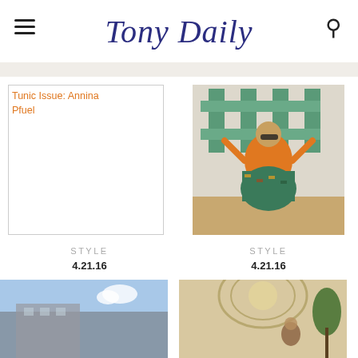Tony Daily
[Figure (screenshot): Broken image placeholder with link text 'Tunic Issue: Annina Pfuel' in orange]
[Figure (photo): Fashion photo of a woman sitting in an orange top and colorful patterned skirt against a green geometric shelf backdrop]
STYLE
4.21.16
Tunic Issue: Annina Pfuel
STYLE
4.21.16
Tunic Issue: J.J. Martin
[Figure (photo): Bottom left partial image showing a building with blue sky]
[Figure (photo): Bottom right partial image showing an ornate interior with a woman and palm plant]